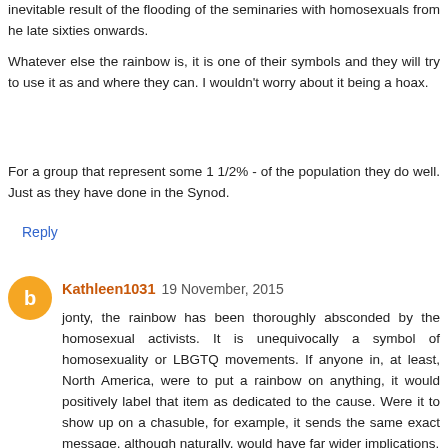inevitable result of the flooding of the seminaries with homosexuals from he late sixties onwards.
Whatever else the rainbow is, it is one of their symbols and they will try to use it as and where they can. I wouldn't worry about it being a hoax.
For a group that represent some 1 1/2% - of the population they do well. Just as they have done in the Synod.
Reply
Kathleen1031  19 November, 2015
jonty, the rainbow has been thoroughly absconded by the homosexual activists. It is unequivocally a symbol of homosexuality or LBGTQ movements. If anyone in, at least, North America, were to put a rainbow on anything, it would positively label that item as dedicated to the cause. Were it to show up on a chasuble, for example, it sends the same exact message, although naturally, would have far wider implications.
The rainbow, is no longer harmless.